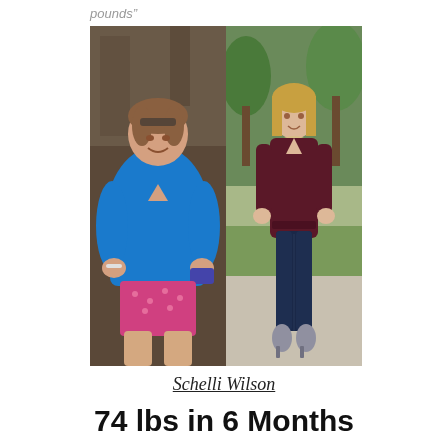pounds”
[Figure (photo): Before and after weight loss photos. Left: woman in blue top and pink polka dot shorts, appears heavier. Right: same woman in dark maroon top and dark jeans, noticeably slimmer, standing outdoors.]
Schelli Wilson
74 lbs in 6 Months